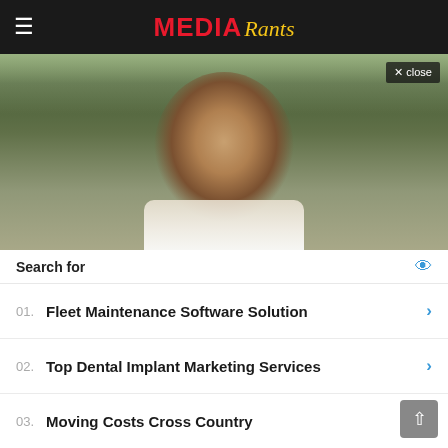MEDIA Rants
[Figure (photo): Close-up photo of a young Black man in a white shirt, looking at the camera with blurred green outdoor background.]
✕ close
Search for
01. Fleet Maintenance Software Solution
02. Top Dental Implant Marketing Services
03. Moving Costs Cross Country
04. Get Gutter Guard Installations
05. Best Call Center Softwares Solution Info Online
The ... us seen ... fan who ... n wide ... eran com ...
Yahoo! Search | Sponsored